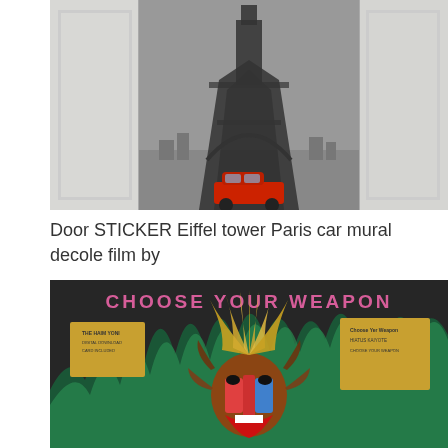[Figure (photo): Photo of a door sticker showing the Eiffel tower in Paris in black and white with a red Citroën 2CV car, applied to a grey door with white door frames on either side]
Door STICKER Eiffel tower Paris car mural decole film by
[Figure (photo): Photo of a vinyl record album in plastic sleeve titled 'Choose Your Weapon' with artwork featuring a colorful mandrill with an elaborate headdress surrounded by green flames, with gold sticker labels on the front]